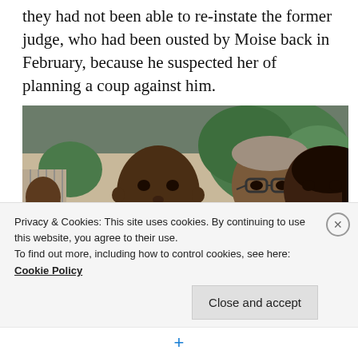they had not been able to re-instate the former judge, who had been ousted by Moise back in February, because he suspected her of planning a coup against him.
[Figure (photo): Group photo showing a man in a dark suit with a tie in the foreground, a woman in a red dress smiling on the right, and an older man in a beige suit with glasses standing behind them. A uniformed person with gold epaulettes is partially visible on the left. Background shows tropical foliage and a building entrance.]
Privacy & Cookies: This site uses cookies. By continuing to use this website, you agree to their use.
To find out more, including how to control cookies, see here: Cookie Policy
Close and accept